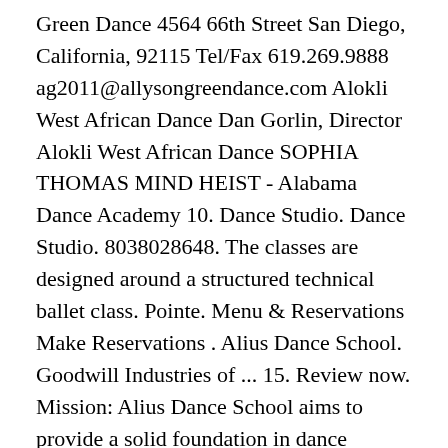Green Dance 4564 66th Street San Diego, California, 92115 Tel/Fax 619.269.9888 ag2011@allysongreendance.com Alokli West African Dance Dan Gorlin, Director Alokli West African Dance SOPHIA THOMAS MIND HEIST - Alabama Dance Academy 10. Dance Studio. Dance Studio. 8038028648. The classes are designed around a structured technical ballet class. Pointe. Menu & Reservations Make Reservations . Alius Dance School. Goodwill Industries of ... 15. Review now. Mission: Alius Dance School aims to provide a solid foundation in dance technique for the pre-professional and adult student. Students use the ballet barre to learn proper technique and vocabulary, flexibility, coordination, proper